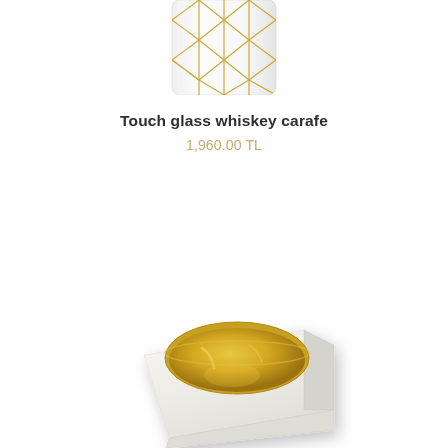[Figure (photo): Partial view of a glass whiskey carafe with gold geometric honeycomb pattern, cropped at the bottom of the image showing only the lower portion of the carafe]
Touch glass whiskey carafe
1,960.00 TL
[Figure (photo): White marble square ashtray or candle holder with a round gold (brass) interior bowl insert, photographed at a slight angle on white background]